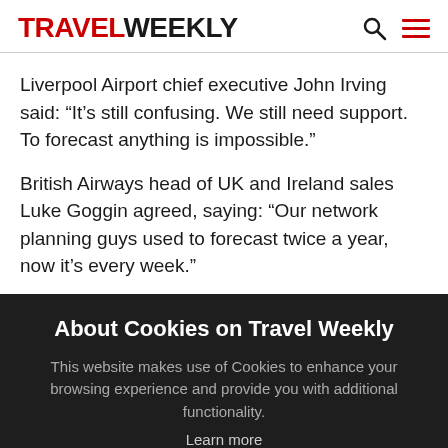TRAVEL WEEKLY
Liverpool Airport chief executive John Irving said: “It’s still confusing. We still need support. To forecast anything is impossible.”
British Airways head of UK and Ireland sales Luke Goggin agreed, saying: “Our network planning guys used to forecast twice a year, now it’s every week.”
About Cookies on Travel Weekly
This website makes use of Cookies to enhance your browsing experience and provide you with additional functionality.
Learn more
ACCEPT AND CLOSE